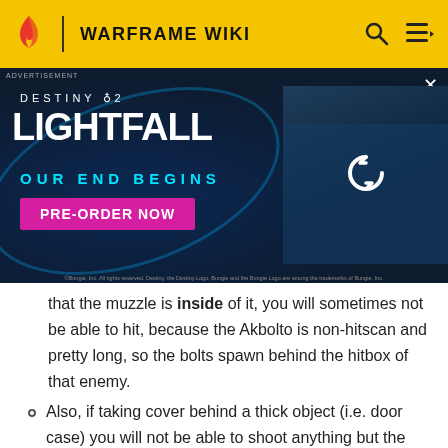WARFRAME WIKI
[Figure (screenshot): Destiny 2 Lightfall advertisement banner with text 'OUR END BEGINS' and 'PRE-ORDER NOW' button on dark blue background with game character image]
that the muzzle is inside of it, you will sometimes not be able to hit, because the Akbolto is non-hitscan and pretty long, so the bolts spawn behind the hitbox of that enemy.
Also, if taking cover behind a thick object (i.e. door case) you will not be able to shoot anything but the wall in front you if the muzzle is inside of that object.
The innate  polarity can somewhat limit elemental